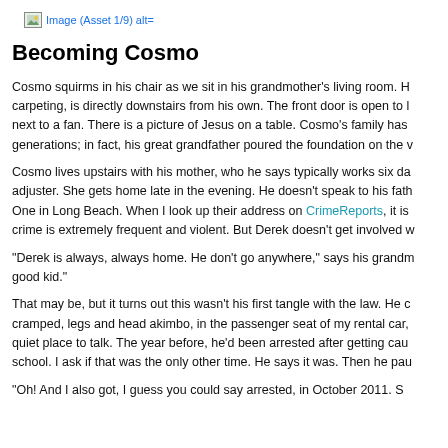[Figure (other): Broken image placeholder with alt text: Image (Asset 1/9) alt=]
Becoming Cosmo
Cosmo squirms in his chair as we sit in his grandmother's living room. H carpeting, is directly downstairs from his own. The front door is open to l next to a fan. There is a picture of Jesus on a table. Cosmo's family has generations; in fact, his great grandfather poured the foundation on the v
Cosmo lives upstairs with his mother, who he says typically works six da adjuster. She gets home late in the evening. He doesn't speak to his fat One in Long Beach. When I look up their address on CrimeReports, it is crime is extremely frequent and violent. But Derek doesn't get involved w
“Derek is always, always home. He don’t go anywhere,” says his grandn good kid.”
That may be, but it turns out this wasn’t his first tangle with the law. He c cramped, legs and head akimbo, in the passenger seat of my rental car, quiet place to talk. The year before, he’d been arrested after getting cau school. I ask if that was the only other time. He says it was. Then he pau
“Oh! And I also got, I guess you could say arrested, in October 2011. S